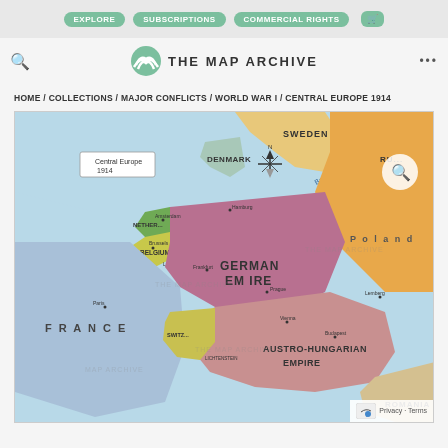EXPLORE | SUBSCRIPTIONS | COMMERCIAL RIGHTS
[Figure (logo): The Map Archive logo with mountain/wave icon and text THE MAP ARCHIVE]
HOME / COLLECTIONS / MAJOR CONFLICTS / WORLD WAR I / CENTRAL EUROPE 1914
[Figure (map): Historical map of Central Europe 1914 showing Germany Empire, Austro-Hungarian Empire, France, Belgium, Netherlands, Denmark, Sweden, Poland, Romania and surrounding regions with watermark overlays from The Map Archive]